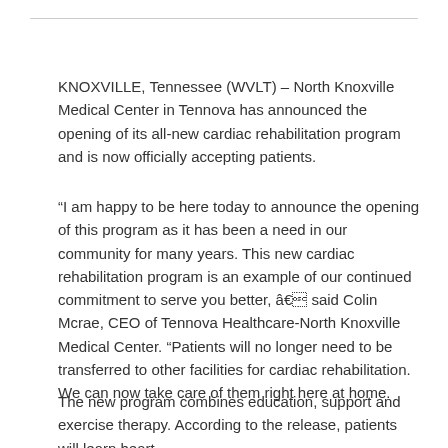KNOXVILLE, Tennessee (WVLT) – North Knoxville Medical Center in Tennova has announced the opening of its all-new cardiac rehabilitation program and is now officially accepting patients.
“I am happy to be here today to announce the opening of this program as it has been a need in our community for many years. This new cardiac rehabilitation program is an example of our continued commitment to serve you better, â€ said Colin Mcrae, CEO of Tennova Healthcare-North Knoxville Medical Center. “Patients will no longer need to be transferred to other facilities for cardiac rehabilitation. We can now take care of them right here at home.
The new program combines education, support and exercise therapy. According to the release, patients will learn heart-